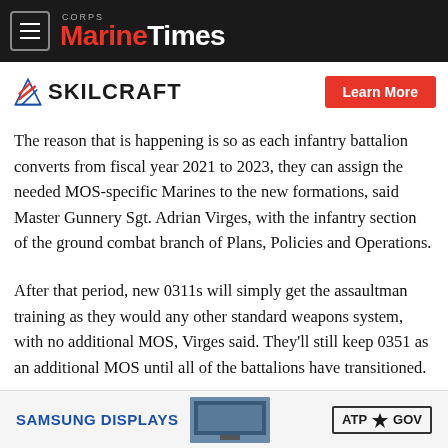Marine Corps Times
[Figure (logo): SKILCRAFT logo with diagonal flag/chevron graphic and 'Learn More' red button]
The reason that is happening is so as each infantry battalion converts from fiscal year 2021 to 2023, they can assign the needed MOS-specific Marines to the new formations, said Master Gunnery Sgt. Adrian Virges, with the infantry section of the ground combat branch of Plans, Policies and Operations.
After that period, new 0311s will simply get the assaultman training as they would any other standard weapons system, with no additional MOS, Virges said. They'll still keep 0351 as an additional MOS until all of the battalions have transitioned.
[Figure (other): Bottom advertisement banner: SAMSUNG DISPLAYS with TV image and ATP GOV logo]